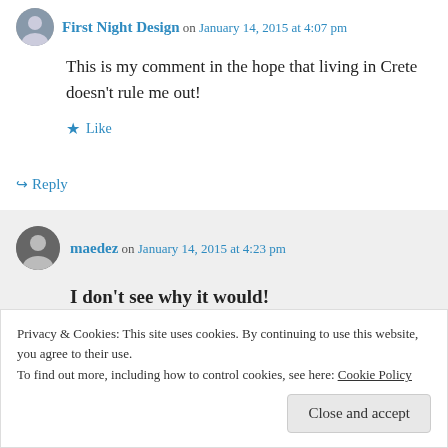First Night Design on January 14, 2015 at 4:07 pm
This is my comment in the hope that living in Crete doesn't rule me out!
★ Like
↳ Reply
maedez on January 14, 2015 at 4:23 pm
I don't see why it would!
Privacy & Cookies: This site uses cookies. By continuing to use this website, you agree to their use. To find out more, including how to control cookies, see here: Cookie Policy
Close and accept